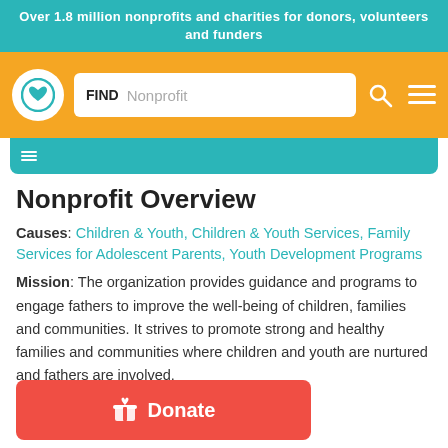Over 1.8 million nonprofits and charities for donors, volunteers and funders
[Figure (screenshot): Navigation bar with orange background, circular white logo with heart icon, search box labeled FIND Nonprofit, search icon and hamburger menu icon]
[Figure (screenshot): Teal partial bar element]
Nonprofit Overview
Causes: Children & Youth, Children & Youth Services, Family Services for Adolescent Parents, Youth Development Programs
Mission: The organization provides guidance and programs to engage fathers to improve the well-being of children, families and communities. It strives to promote strong and healthy families and communities where children and youth are nurtured and fathers are involved.
Donate